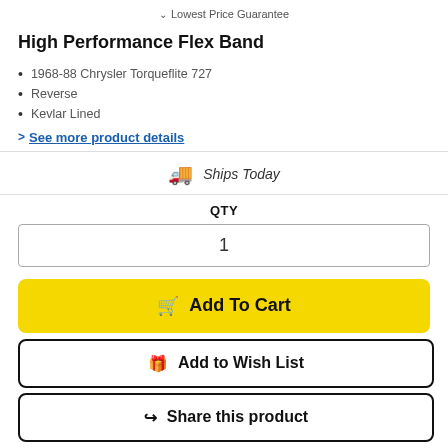Lowest Price Guarantee
High Performance Flex Band
1968-88 Chrysler Torqueflite 727
Reverse
Kevlar Lined
See more product details
Ships Today
QTY
1
Add To Cart
Add to Wish List
Share this product